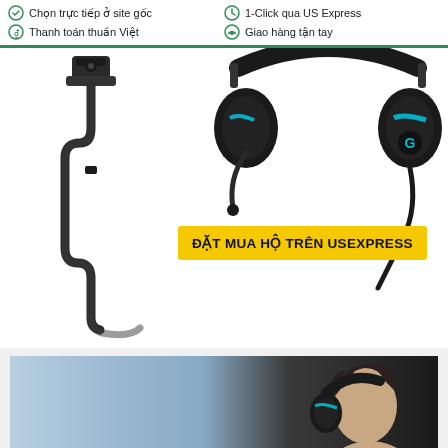Chọn trực tiếp ở site gốc | Thanh toán thuần Việt | 1-Click qua US Express | Giao hàng tận tay
[Figure (photo): Gaming headset with USB cable on white background, with yellow CTA banner reading ĐẶT MUA HỘ TRÊN USEXPRESS]
ĐẶT MUA HỘ TRÊN USEXPRESS
[Figure (photo): Person wearing a gaming headset, side profile view]